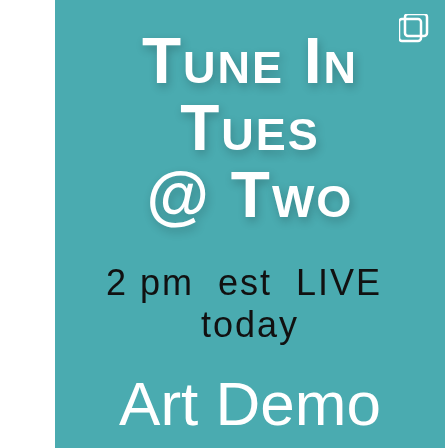[Figure (infographic): Teal/turquoise promotional card with white and dark text. Top section shows 'Tune In Tues @ Two' in large white small-caps font, below that '2 pm est LIVE today' in dark text, then 'Art Demo' in large white text, and 'Gorgeous layered papers created with rolling pins' in dark text. Copy icon in top-right corner. A partial second card is visible at the bottom of the page in light gray.]